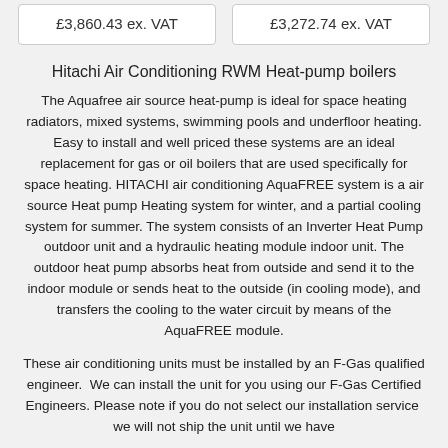£3,860.43 ex. VAT
£3,272.74 ex. VAT
Hitachi Air Conditioning RWM Heat-pump boilers
The Aquafree air source heat-pump is ideal for space heating radiators, mixed systems, swimming pools and underfloor heating. Easy to install and well priced these systems are an ideal replacement for gas or oil boilers that are used specifically for space heating. HITACHI air conditioning AquaFREE system is a air source Heat pump Heating system for winter, and a partial cooling system for summer. The system consists of an Inverter Heat Pump outdoor unit and a hydraulic heating module indoor unit. The outdoor heat pump absorbs heat from outside and send it to the indoor module or sends heat to the outside (in cooling mode), and transfers the cooling to the water circuit by means of the AquaFREE module.
These air conditioning units must be installed by an F-Gas qualified engineer.  We can install the unit for you using our F-Gas Certified Engineers. Please note if you do not select our installation service  we will not ship the unit until we have